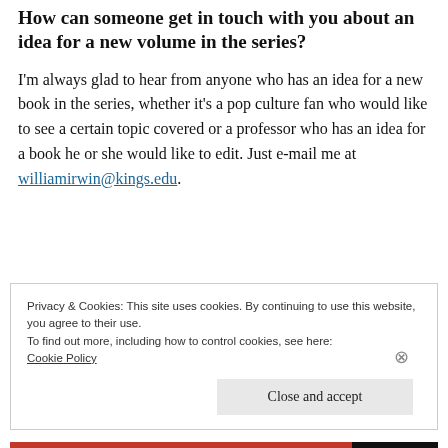How can someone get in touch with you about an idea for a new volume in the series?
I'm always glad to hear from anyone who has an idea for a new book in the series, whether it's a pop culture fan who would like to see a certain topic covered or a professor who has an idea for a book he or she would like to edit. Just e-mail me at williamirwin@kings.edu.
Privacy & Cookies: This site uses cookies. By continuing to use this website, you agree to their use.
To find out more, including how to control cookies, see here:
Cookie Policy
Close and accept